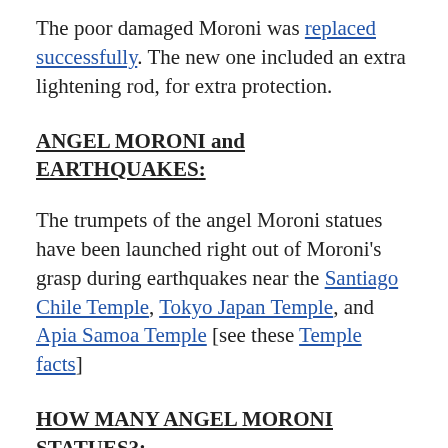The poor damaged Moroni was replaced successfully. The new one included an extra lightening rod, for extra protection.
ANGEL MORONI and EARTHQUAKES:
The trumpets of the angel Moroni statues have been launched right out of Moroni's grasp during earthquakes near the Santiago Chile Temple, Tokyo Japan Temple, and Apia Samoa Temple [see these Temple facts]
HOW MANY ANGEL MORONI STATUES?:
As of this publication date there are 130 Operating Temples, 8 Under Construction and 13 Announced – (click this link